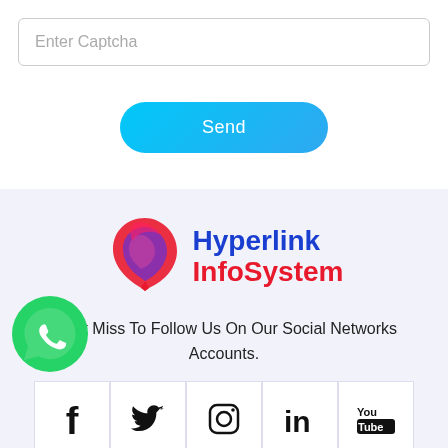Enter Captcha
Send
[Figure (logo): Hyperlink InfoSystem logo with stylized arrow/bookmark shape in pink/purple gradient and text 'Hyperlink InfoSystem' in blue and red]
Don't Miss To Follow Us On Our Social Networks Accounts.
[Figure (infographic): Row of social media icons: Facebook, Twitter, Instagram, LinkedIn, YouTube]
[Figure (logo): WhatsApp floating button - green circle with white phone/chat icon]